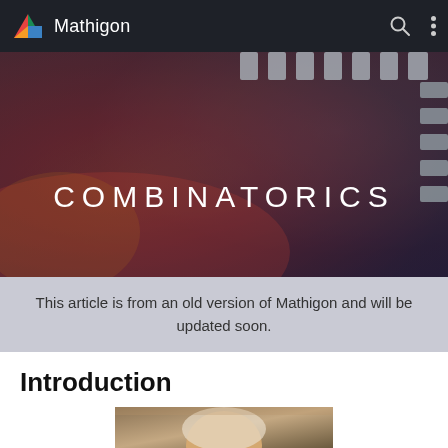Mathigon
[Figure (photo): Close-up photo of interlocking red/metallic gears with 'COMBINATORICS' title overlay]
COMBINATORICS
This article is from an old version of Mathigon and will be updated soon.
Introduction
[Figure (photo): Portrait painting of a historical figure (Leonhard Euler), partially visible]